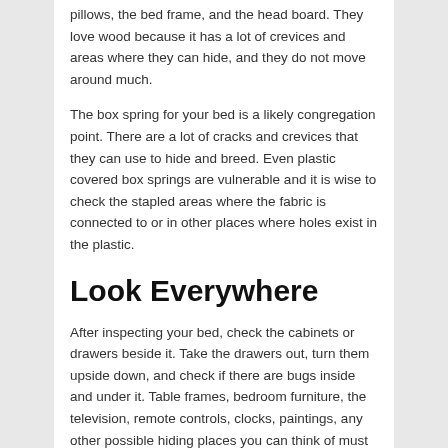pillows, the bed frame, and the head board. They love wood because it has a lot of crevices and areas where they can hide, and they do not move around much.
The box spring for your bed is a likely congregation point. There are a lot of cracks and crevices that they can use to hide and breed. Even plastic covered box springs are vulnerable and it is wise to check the stapled areas where the fabric is connected to or in other places where holes exist in the plastic.
Look Everywhere
After inspecting your bed, check the cabinets or drawers beside it. Take the drawers out, turn them upside down, and check if there are bugs inside and under it. Table frames, bedroom furniture, the television, remote controls, clocks, paintings, any other possible hiding places you can think of must